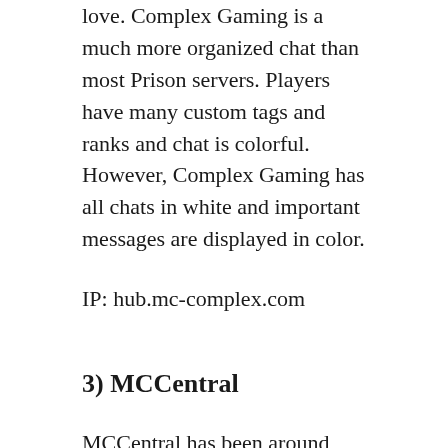love. Complex Gaming is a much more organized chat than most Prison servers. Players have many custom tags and ranks and chat is colorful. However, Complex Gaming has all chats in white and important messages are displayed in color.
IP: hub.mc-complex.com
3) MCCentral
MCCentral has been around since many years. It's great to see that it still has a strong playerbase. MCCentral's Prison Mode features bounties and custom enchants as well as voting rewards, an auction house and many other